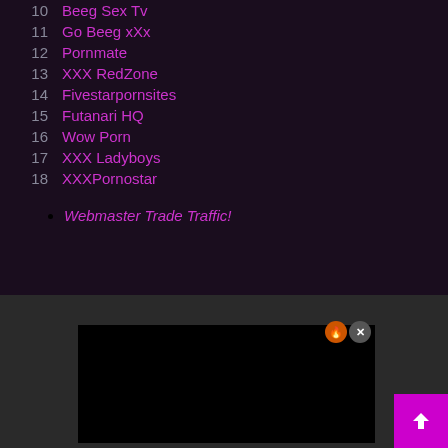10  Beeg Sex Tv
11  Go Beeg xXx
12  Pornmate
13  XXX RedZone
14  Fivestarpornsites
15  Futanari HQ
16  Wow Porn
17  XXX Ladyboys
18  XXXPornostar
• Webmaster Trade Traffic!
[Figure (screenshot): Dark advertisement box with close/back-to-top buttons]